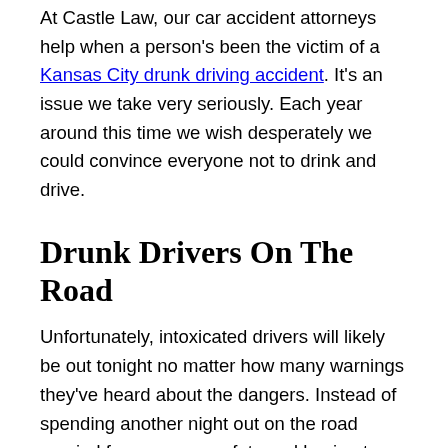At Castle Law, our car accident attorneys help when a person's been the victim of a Kansas City drunk driving accident. It's an issue we take very seriously. Each year around this time we wish desperately we could convince everyone not to drink and drive.
Drunk Drivers On The Road
Unfortunately, intoxicated drivers will likely be out tonight no matter how many warnings they've heard about the dangers. Instead of spending another night out on the road worried for your own safety and having to use extreme caution, consider staying in!